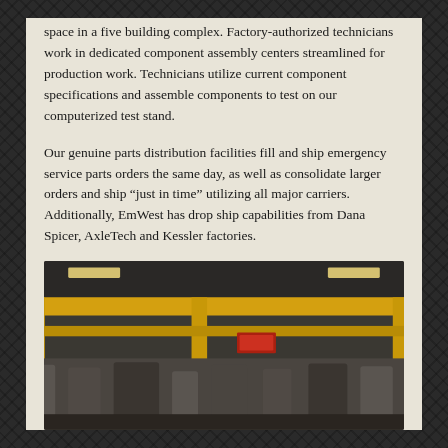space in a five building complex. Factory-authorized technicians work in dedicated component assembly centers streamlined for production work. Technicians utilize current component specifications and assemble components to test on our computerized test stand.
Our genuine parts distribution facilities fill and ship emergency service parts orders the same day, as well as consolidate larger orders and ship “just in time” utilizing all major carriers. Additionally, EmWest has drop ship capabilities from Dana Spicer, AxleTech and Kessler factories.
[Figure (photo): Interior of an industrial facility showing yellow overhead crane rail/beam structure with equipment and storage visible below, taken from a low angle looking up.]